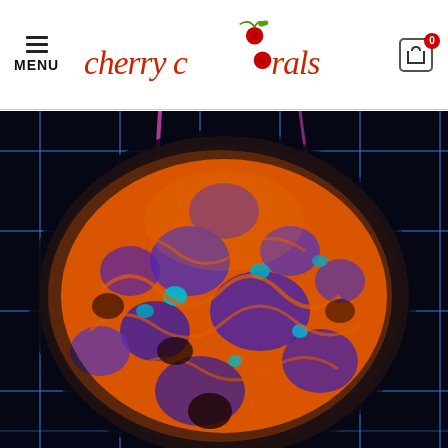Cherry Corals website header with menu and cart
[Figure (photo): Close-up photograph of a coral (likely a Symphyllia or Lobophyllia species) with vivid orange ridges and purple-blue valleys, photographed against a dark background with a glowing blue grid pattern. The coral is roughly spherical and textured with complex folded patterns.]